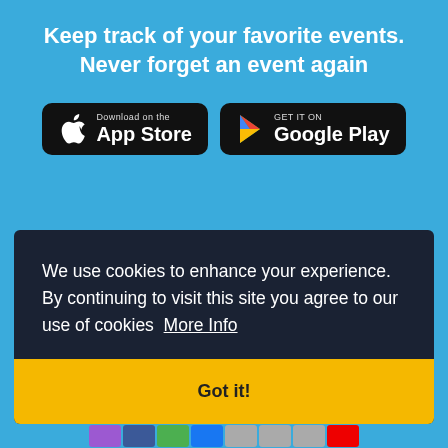Keep track of your favorite events. Never forget an event again
[Figure (screenshot): App Store download button (black, rounded rectangle) with Apple logo icon and text 'Download on the App Store']
[Figure (screenshot): Google Play download button (black, rounded rectangle) with Google Play triangle icon and text 'GET IT ON Google Play']
[Figure (screenshot): Partial phone preview showing blurred app interface at bottom of blue section]
We use cookies to enhance your experience. By continuing to visit this site you agree to our use of cookies  More Info
Got it!